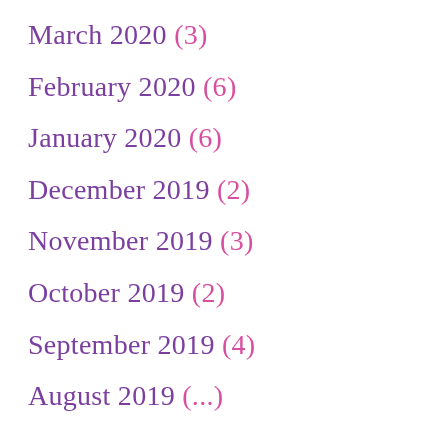March 2020 (3)
February 2020 (6)
January 2020 (6)
December 2019 (2)
November 2019 (3)
October 2019 (2)
September 2019 (4)
August 2019 (...)